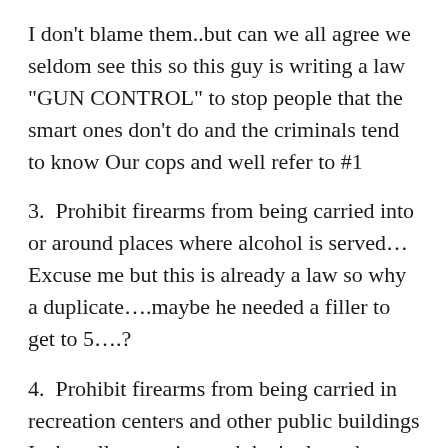I don't blame them..but can we all agree we seldom see this so this guy is writing a law "GUN CONTROL" to stop people that the smart ones don't do and the criminals tend to know Our cops and well refer to #1
3.  Prohibit firearms from being carried into or around places where alcohol is served…
Excuse me but this is already a law so why a duplicate….maybe he needed a filler to get to 5….?
4.  Prohibit firearms from being carried in recreation centers and other public buildings
Is that all recreation and don't places have a right to decide for themselves also don;t we all ready prohibit some public buildings isn't this just another slight of